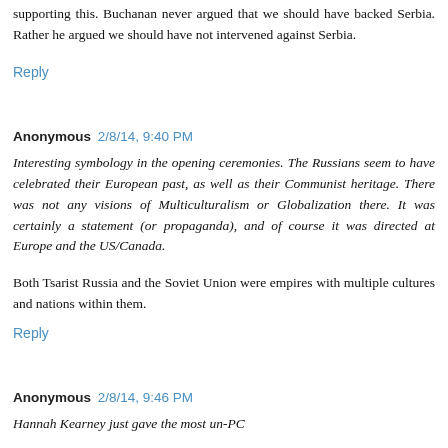supporting this. Buchanan never argued that we should have backed Serbia. Rather he argued we should have not intervened against Serbia.
Reply
Anonymous 2/8/14, 9:40 PM
Interesting symbology in the opening ceremonies. The Russians seem to have celebrated their European past, as well as their Communist heritage. There was not any visions of Multiculturalism or Globalization there. It was certainly a statement (or propaganda), and of course it was directed at Europe and the US/Canada.
Both Tsarist Russia and the Soviet Union were empires with multiple cultures and nations within them.
Reply
Anonymous 2/8/14, 9:46 PM
Hannah Kearney just gave the most un-PC